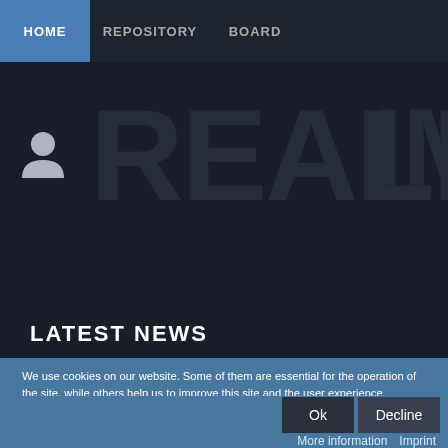HOME  REPOSITORY  BOARD
[Figure (screenshot): REALM website hero banner with dark background showing large watermark text REALM and a user profile icon on the left]
LATEST NEWS
We use cookies on our website. Some of them are essential for the operation of the site, while others help us to improve this site and the user experience (tracking cookies). You can decide for yourself whether you want to allow cookies or not. Please note that if you reject them, you may not be able to use all the functionalities of the site.
Ok
Decline
More information    Imprint